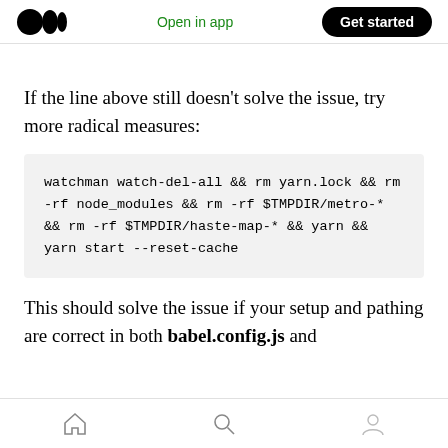Open in app | Get started
If the line above still doesn't solve the issue, try more radical measures:
watchman watch-del-all && rm yarn.lock && rm -rf node_modules && rm -rf $TMPDIR/metro-* && rm -rf $TMPDIR/haste-map-* && yarn && yarn start --reset-cache
This should solve the issue if your setup and pathing are correct in both babel.config.js and
Home | Search | Profile